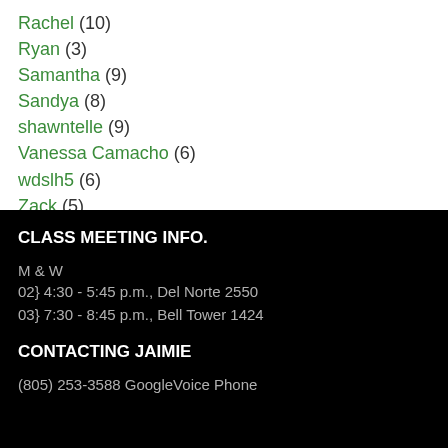Rachel (10)
Ryan (3)
Samantha (9)
Sandya (8)
shawntelle (9)
Vanessa Camacho (6)
wdslh5 (6)
Zack (5)
CLASS MEETING INFO.
M & W
02} 4:30 - 5:45 p.m., Del Norte 2550
03} 7:30 - 8:45 p.m., Bell Tower 1424
CONTACTING JAIMIE
(805) 253-3588 GoogleVoice Phone